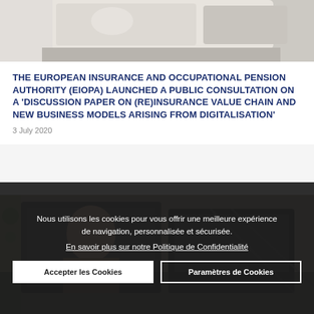[Figure (photo): Partial photo at top of page showing a laptop and desk surface, light-toned background.]
THE EUROPEAN INSURANCE AND OCCUPATIONAL PENSION AUTHORITY (EIOPA) LAUNCHED A PUBLIC CONSULTATION ON A 'DISCUSSION PAPER ON (RE)INSURANCE VALUE CHAIN AND NEW BUSINESS MODELS ARISING FROM DIGITALISATION'
3 July 2020
[Figure (photo): Photo showing a woman in a video call on a laptop screen, with what appears to be a monitor and office background.]
Nous utilisons les cookies pour vous offrir une meilleure expérience de navigation, personnalisée et sécurisée.
En savoir plus sur notre Politique de Confidentialité
Accepter les Cookies
Paramètres de Cookies
SUSPICIOUS COUNCIL OF INSURANCE INTERMEDIARIES OF CASTILLA-